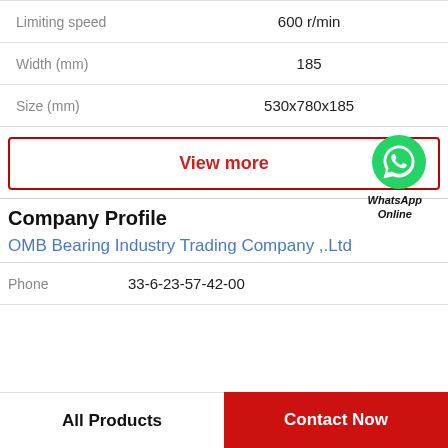| Property | Value |
| --- | --- |
| Limiting speed | 600 r/min |
| Width (mm) | 185 |
| Size (mm) | 530x780x185 |
View more
[Figure (logo): WhatsApp green phone icon with WhatsApp Online label]
Company Profile
OMB Bearing Industry Trading Company ,.Ltd
Phone   33-6-23-57-42-00
All Products   Contact Now